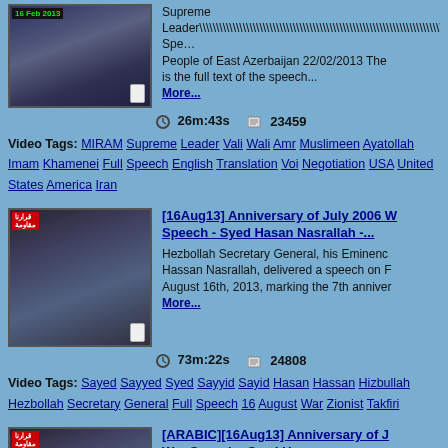[Figure (screenshot): Video thumbnail showing a cleric at podium, dated 16 Feb 2013]
Supreme Leader\\\\\\\\\\\\\\\\\\\\\\\\\\\\\\\\\\\\\\\\\\s Speech to the People of East Azerbaijan 22/02/2013 The following is the full text of the speech... More...
26m:43s   23459
Video Tags: MIRAM Supreme Leader Vali Wali Amr Muslimeen Ayatollah Imam Khamenei Full Speech English Translation Voi Negotiation USA United States America Iran
[Figure (screenshot): Video thumbnail showing Syed Hasan Nasrallah speaking]
[16Aug13] Anniversary of July 2006 War Speech - Syed Hasan Nasrallah -...
Hezbollah Secretary General, his Eminence Hassan Nasrallah, delivered a speech on Friday August 16th, 2013, marking the 7th anniversary... More...
73m:22s   24808
Video Tags: Sayed Sayyed Syed Sayyid Sayid Hasan Hassan Hizbullah Hezbollah Secretary General Full Speech 16 August War Zionist Takfiri
[Figure (screenshot): Video thumbnail showing Syed Hasan Nasrallah with Arabic text]
[ARABIC][16Aug13] Anniversary of July War Speech - Syed Hasan...
Hezbollah Secretary General, his Eminence Hassan Nasrallah, delivered a speech on Fr...